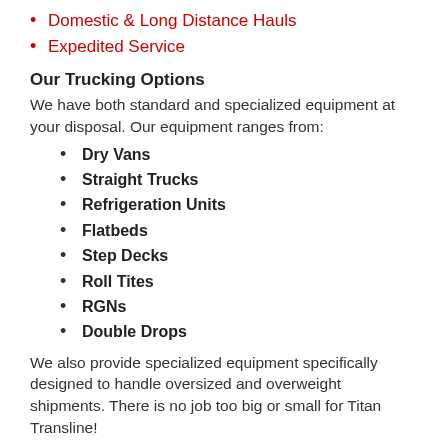Domestic & Long Distance Hauls
Expedited Service
Our Trucking Options
We have both standard and specialized equipment at your disposal. Our equipment ranges from:
Dry Vans
Straight Trucks
Refrigeration Units
Flatbeds
Step Decks
Roll Tites
RGNs
Double Drops
We also provide specialized equipment specifically designed to handle oversized and overweight shipments. There is no job too big or small for Titan Transline!